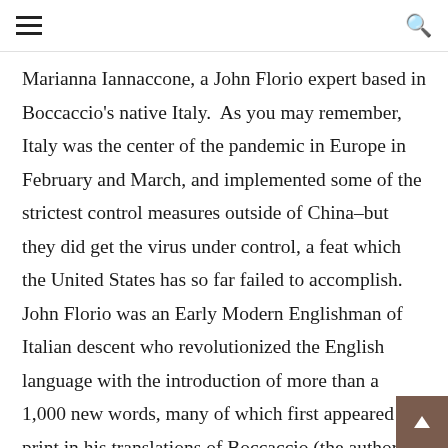≡  🔍
Marianna Iannaccone, a John Florio expert based in Boccaccio's native Italy.  As you may remember, Italy was the center of the pandemic in Europe in February and March, and implemented some of the strictest control measures outside of China–but they did get the virus under control, a feat which the United States has so far failed to accomplish. John Florio was an Early Modern Englishman of Italian descent who revolutionized the English language with the introduction of more than a 1,000 new words, many of which first appeared in print in his translations of Boccaccio (the author of Decameron) and Montaigne